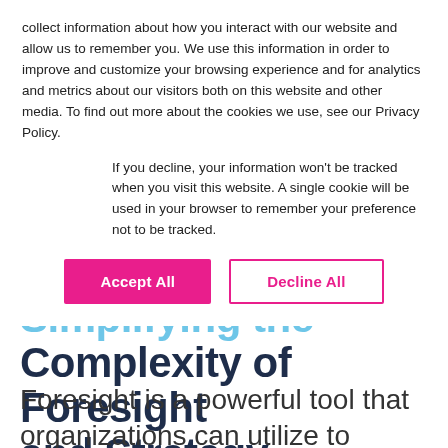collect information about how you interact with our website and allow us to remember you. We use this information in order to improve and customize your browsing experience and for analytics and metrics about our visitors both on this website and other media. To find out more about the cookies we use, see our Privacy Policy.
If you decline, your information won’t be tracked when you visit this website. A single cookie will be used in your browser to remember your preference not to be tracked.
Accept All
Decline All
Simplifying the Complexity of Foresight and Strategy
Foresight is a powerful tool that organizations can utilize to anticipate and lay the necessary